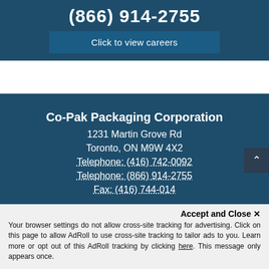(866) 914-2755
Click to view careers
Co-Pak Packaging Corporation
1231 Martin Grove Rd
Toronto, ON M9W 4X2
Telephone: (416) 742-0092
Telephone: (866) 914-2755
Fax: (416) 744-014...
Accept and Close ✕
Your browser settings do not allow cross-site tracking for advertising. Click on this page to allow AdRoll to use cross-site tracking to tailor ads to you. Learn more or opt out of this AdRoll tracking by clicking here. This message only appears once.